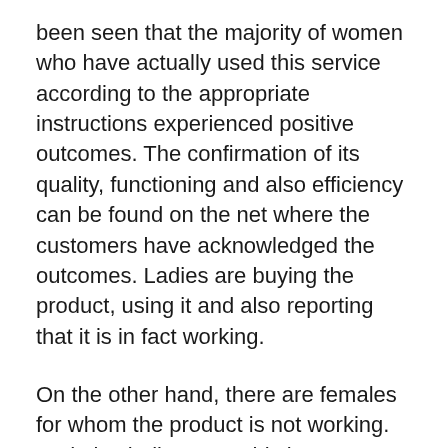been seen that the majority of women who have actually used this service according to the appropriate instructions experienced positive outcomes. The confirmation of its quality, functioning and also efficiency can be found on the net where the customers have acknowledged the outcomes. Ladies are buying the product, using it and also reporting that it is in fact working.
On the other hand, there are females for whom the product is not working. And also believe me, this is not way too much of a surprise. It is not needed that a product can benefit everyone. What works for one might not benefit various other. It just does not occur.